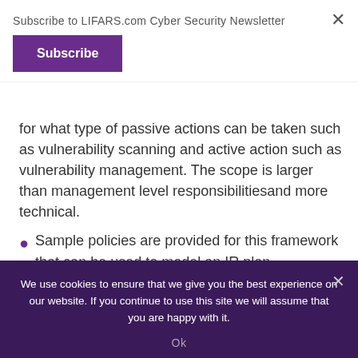Subscribe to LIFARS.com Cyber Security Newsletter
Subscribe
for what type of passive actions can be taken such as vulnerability scanning and active action such as vulnerability management. The scope is larger than management level responsibilitiesand more technical.
Sample policies are provided for this framework that can be used to model an IR plan.
Phases of this plan are:
Identification.
We use cookies to ensure that we give you the best experience on our website. If you continue to use this site we will assume that you are happy with it.
Ok